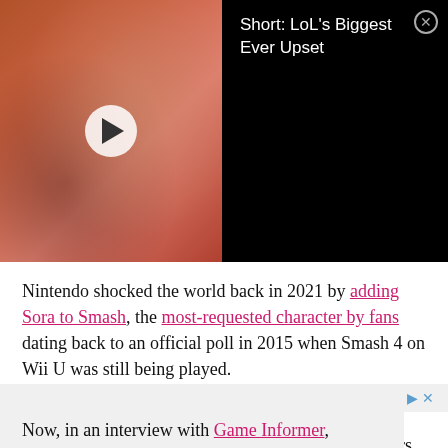[Figure (screenshot): Video thumbnail showing a man in a floral red shirt near a microphone, with a white play button circle overlay. To the right on black background shows title text: 'Short: LoL's Biggest Ever Upset' with a close (X) button.]
Nintendo shocked the world back in 2021 by adding Sora to Smash, the most-requested character by fans dating back to an official poll in 2015 when Smash 4 on Wii U was still being played.
However, it was often speculated that Disney made having Sora join Smash very difficult, as early rumors suggested.
Now, in an interview with Game Informer, Nomura